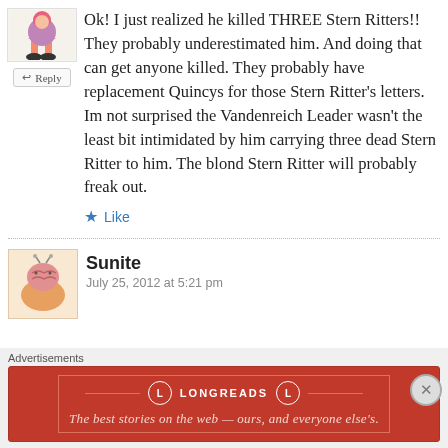[Figure (illustration): Small avatar illustration of a cartoon character with pink/purple outfit and legs visible]
Reply
Ok! I just realized he killed THREE Stern Ritters!! They probably underestimated him. And doing that can get anyone killed. They probably have replacement Quincys for those Stern Ritter's letters. Im not surprised the Vandenreich Leader wasn't the least bit intimidated by him carrying three dead Stern Ritter to him. The blond Stern Ritter will probably freak out.
Like
[Figure (illustration): Small avatar illustration of a cartoon brain/creature character, orange and pink tones]
Sunite
July 25, 2012 at 5:21 pm
Advertisements
[Figure (infographic): Longreads advertisement banner in dark red/crimson. Logo circle with L, brand name LONGREADS, tagline: The best stories on the web — ours, and everyone else's.]